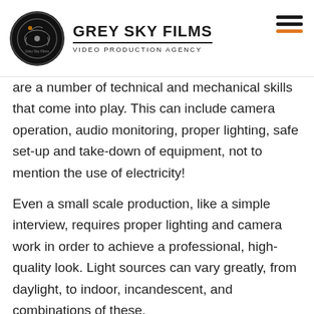GREY SKY FILMS — VIDEO PRODUCTION AGENCY
are a number of technical and mechanical skills that come into play. This can include camera operation, audio monitoring, proper lighting, safe set-up and take-down of equipment, not to mention the use of electricity!
Even a small scale production, like a simple interview, requires proper lighting and camera work in order to achieve a professional, high-quality look. Light sources can vary greatly, from daylight, to indoor, incandescent, and combinations of these.
A production company in the NYC area will not only have the experience and know-how to achieve the look that is